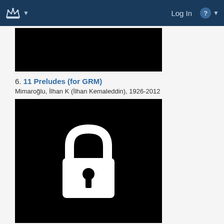Log In
[Figure (photo): Black rectangular image at top of content area]
6. 11 Preludes (for GRM)
Mimaroğlu, İlhan K (İlhan Kemaleddin), 1926-2012
[Figure (illustration): Black square image with white padlock icon in center]
7. 1/2 Muruta R Odink(?)